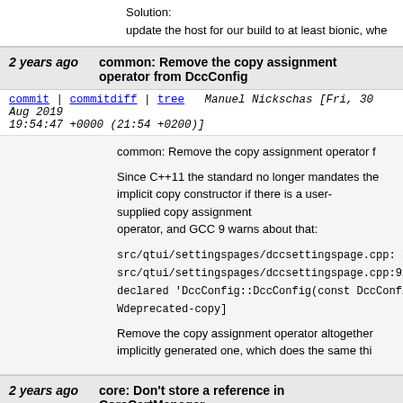Solution:
update the host for our build to at least bionic, whe
2 years ago   common: Remove the copy assignment operator from DccConfig
commit | commitdiff | tree   Manuel Nickschas [Fri, 30 Aug 2019 19:54:47 +0000 (21:54 +0200)]
common: Remove the copy assignment operator f

Since C++11 the standard no longer mandates the implicit copy constructor if there is a user-supplied copy assignment
operator, and GCC 9 warns about that:

src/qtui/settingspages/dccsettingspage.cpp: In me
src/qtui/settingspages/dccsettingspage.cpp:91:71:
declared 'DccConfig::DccConfig(const DccConfig&
Wdeprecated-copy]

Remove the copy assignment operator altogether
implicitly generated one, which does the same thi
2 years ago   core: Don't store a reference in CoreCertManager
commit | commitdiff | tree   Manuel Nickschas [Fri, 30 Aug 2019 19:48:32 +0000 (21:48 +0200)]